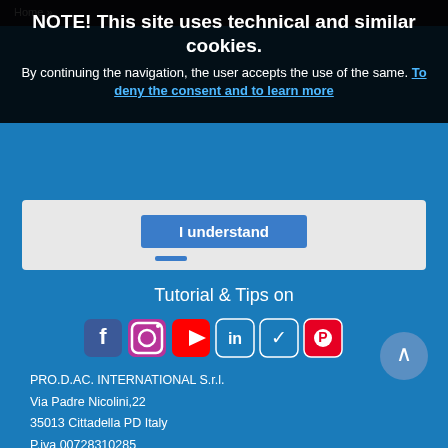NOTE! This site uses technical and similar cookies.
By continuing the navigation, the user accepts the use of the same. To deny the consent and to learn more
I understand
Tutorial & Tips on
[Figure (illustration): Social media icons row: Facebook, Instagram, YouTube, LinkedIn, Twitter, Pinterest]
PRO.D.AC. INTERNATIONAL S.r.l.
Via Padre Nicolini,22
35013 Cittadella PD Italy
P.iva 00728310285
Phone: +39 0495971677
Fax: +39 049 597113
Copyright © 2018. All Rights Reserved